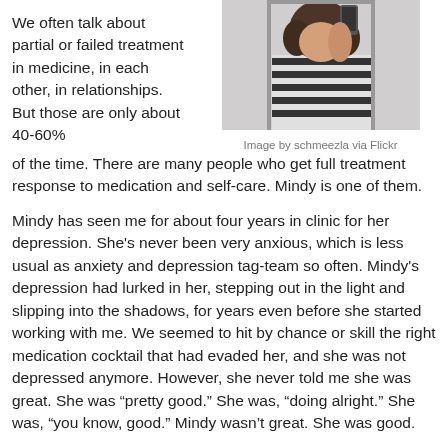We often talk about partial or failed treatment in medicine, in each other, in relationships.  But those are only about 40-60% of the time.  There are many people who get full treatment response to medication and self-care.  Mindy is one of them.
[Figure (photo): A person in a striped shirt taking a mirror selfie]
Image by schmeezla via Flickr
Mindy has seen me for about four years in clinic for her depression.  She's never been very anxious, which is less usual as anxiety and depression tag-team so often.  Mindy's depression had lurked in her, stepping out in the light and slipping into the shadows, for years even before she started working with me.  We seemed to hit by chance or skill the right medication cocktail that had evaded her, and she was not depressed anymore.  However, she never told me she was great.  She was “pretty good.”  She was, “doing alright.”  She was, “you know, good.”  Mindy wasn’t great.  She was good.